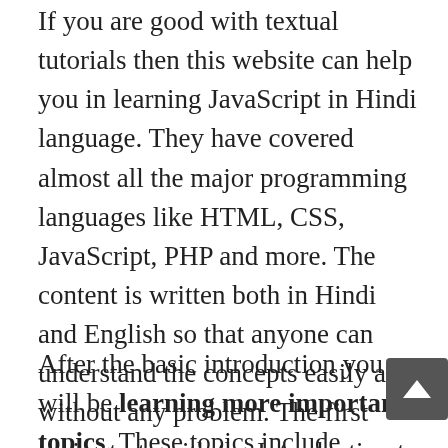If you are good with textual tutorials then this website can help you in learning JavaScript in Hindi language. They have covered almost all the major programming languages like HTML, CSS, JavaScript, PHP and more. The content is written both in Hindi and English so that anyone can understand the concepts easily and without any problem. The first topic starts with the Introduction to JavaScript and also some advantages and functions of JavaScript.
After the basic introduction you will be learning more important topics. These topics include Syntax, Variables, Operators, Control statements, Arrays, Strings and more. You will